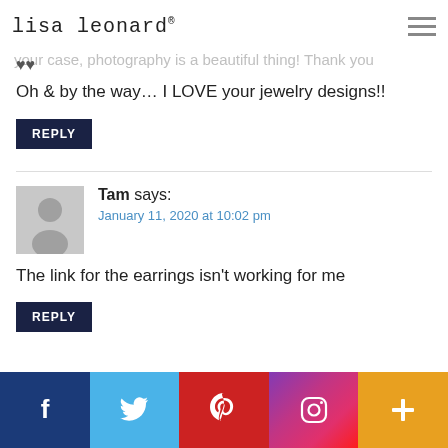lisa leonard®
Hi Lisa!
Loving all the tips and ideas for your photography.. and in your case, photography is a beautiful thing! Thank you
♥♥
Oh & by the way… I LOVE your jewelry designs!!
REPLY
Tam says:
January 11, 2020 at 10:02 pm
The link for the earrings isn't working for me
REPLY
[Figure (infographic): Social media share bar with Facebook, Twitter, Pinterest, Instagram, and More (+) buttons]